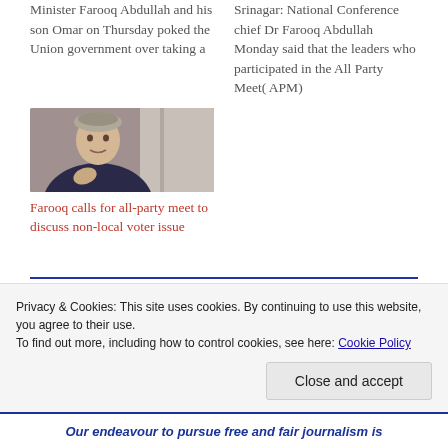Minister Farooq Abdullah and his son Omar on Thursday poked the Union government over taking a
Srinagar: National Conference chief Dr Farooq Abdullah Monday said that the leaders who participated in the All Party Meet( APM)
[Figure (photo): Photo of Dr Farooq Abdullah, an older man wearing a grey cap and dark clothing, gesturing with his hand]
Farooq calls for all-party meet to discuss non-local voter issue
Privacy & Cookies: This site uses cookies. By continuing to use this website, you agree to their use.
To find out more, including how to control cookies, see here: Cookie Policy
Close and accept
Our endeavour to pursue free and fair journalism is